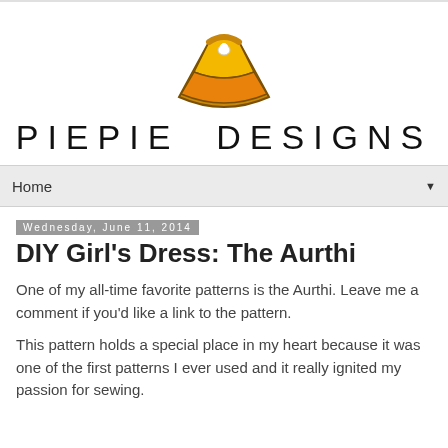[Figure (logo): Pie slice illustration logo for PiePie Designs - a cartoon slice of pie with orange filling and golden crust with a small white cream dot on top]
PIEPIE  DESIGNS
Home
Wednesday, June 11, 2014
DIY Girl's Dress: The Aurthi
One of my all-time favorite patterns is the Aurthi. Leave me a comment if you'd like a link to the pattern.
This pattern holds a special place in my heart because it was one of the first patterns I ever used and it really ignited my passion for sewing.